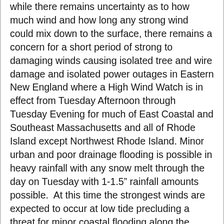while there remains uncertainty as to how much wind and how long any strong wind could mix down to the surface, there remains a concern for a short period of strong to damaging winds causing isolated tree and wire damage and isolated power outages in Eastern New England where a High Wind Watch is in effect from Tuesday Afternoon through Tuesday Evening for much of East Coastal and Southeast Massachusetts and all of Rhode Island except Northwest Rhode Island. Minor urban and poor drainage flooding is possible in heavy rainfall with any snow melt through the day on Tuesday with 1-1.5" rainfall amounts possible.  At this time the strongest winds are expected to occur at low tide precluding a threat for minor coastal flooding along the South Coast of Massachusetts and Rhode Island but this will continue to be monitored.
SKYWARN Self-Activation will monitor the wintry weather conditions for late Monday Afternoon into